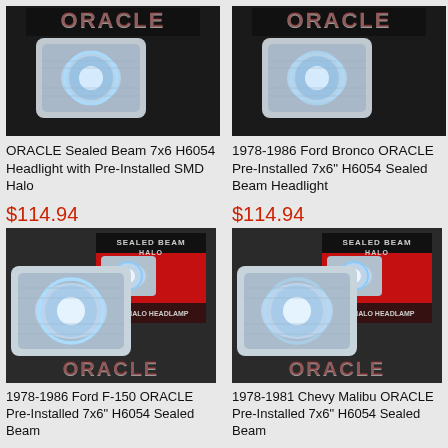[Figure (photo): ORACLE Sealed Beam 7x6 H6054 headlight product image with halo ring]
ORACLE Sealed Beam 7x6 H6054 Headlight with Pre-Installed SMD Halo
$114.94
[Figure (photo): 1978-1986 Ford Bronco ORACLE headlight product image]
1978-1986 Ford Bronco ORACLE Pre-Installed 7x6" H6054 Sealed Beam Headlight
$114.94
[Figure (photo): 1978-1986 Ford F-150 ORACLE Pre-Installed 7x6 H6054 headlight product image with box]
1978-1986 Ford F-150 ORACLE Pre-Installed 7x6" H6054 Sealed Beam
[Figure (photo): 1978-1981 Chevy Malibu ORACLE Pre-Installed 7x6 H6054 headlight product image with box]
1978-1981 Chevy Malibu ORACLE Pre-Installed 7x6" H6054 Sealed Beam